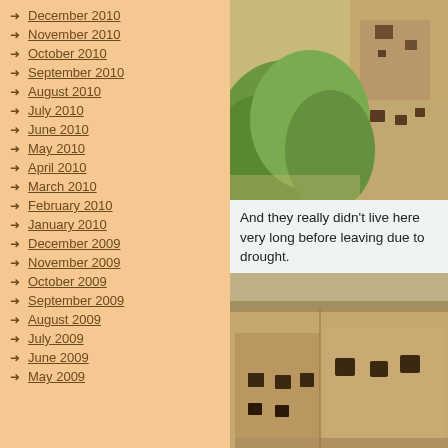December 2010
November 2010
October 2010
September 2010
August 2010
July 2010
June 2010
May 2010
April 2010
March 2010
February 2010
January 2010
December 2009
November 2009
October 2009
September 2009
August 2009
July 2009
June 2009
May 2009
[Figure (photo): Aerial or elevated view of ancient cliff dwellings (likely Mesa Verde) with green trees and stone structures]
And they really didn't live here very long before leaving due to drought.
[Figure (photo): Close-up view of ancient cliff dwelling ruins showing stone walls with window openings under rock overhang]